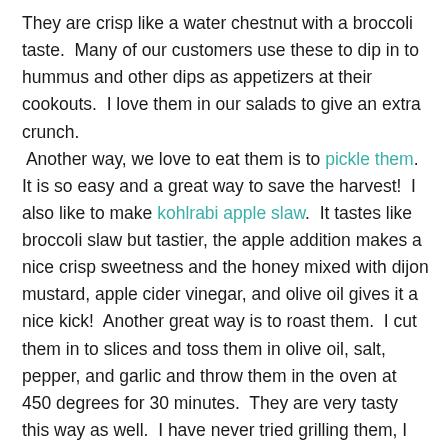They are crisp like a water chestnut with a broccoli taste.  Many of our customers use these to dip in to hummus and other dips as appetizers at their cookouts.  I love them in our salads to give an extra crunch.  Another way, we love to eat them is to pickle them.  It is so easy and a great way to save the harvest!  I also like to make kohlrabi apple slaw.  It tastes like broccoli slaw but tastier, the apple addition makes a nice crisp sweetness and the honey mixed with dijon mustard, apple cider vinegar, and olive oil gives it a nice kick!  Another great way is to roast them.  I cut them in to slices and toss them in olive oil, salt, pepper, and garlic and throw them in the oven at 450 degrees for 30 minutes.  They are very tasty this way as well.  I have never tried grilling them, I may give that a try for father's day!  I will prepare them the same way I do for roasting but put them on the grill.